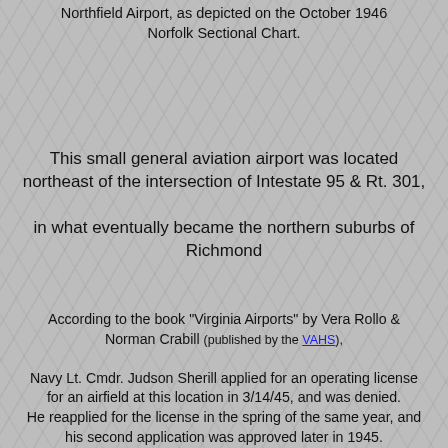Northfield Airport, as depicted on the October 1946 Norfolk Sectional Chart.
This small general aviation airport was located northeast of the intersection of Intestate 95 & Rt. 301,
in what eventually became the northern suburbs of Richmond
According to the book "Virginia Airports" by Vera Rollo & Norman Crabill (published by the VAHS),
Navy Lt. Cmdr. Judson Sherill applied for an operating license for an airfield at this location in 3/14/45, and was denied.
He reapplied for the license in the spring of the same year, and his second application was approved later in 1945.